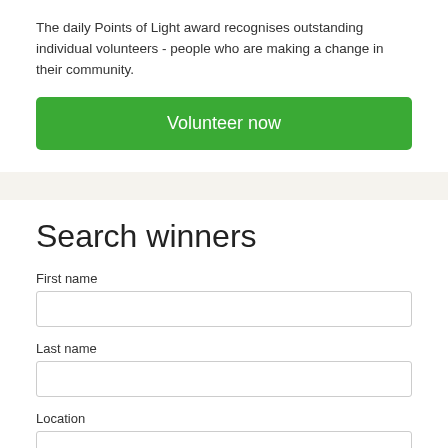The daily Points of Light award recognises outstanding individual volunteers - people who are making a change in their community.
Volunteer now
Search winners
First name
Last name
Location